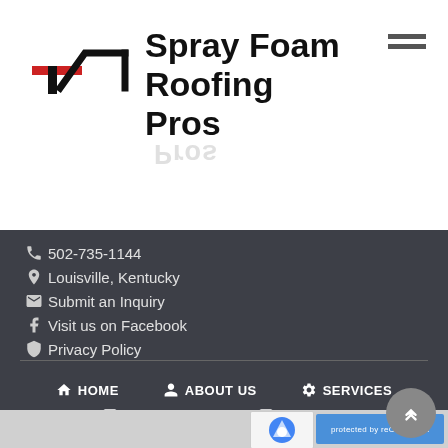[Figure (logo): Spray Foam Roofing Pros logo with house/roof icon and company name]
502-735-1144
Louisville, Kentucky
Submit an Inquiry
Visit us on Facebook
Privacy Policy
HOME   ABOUT US   SERVICES
FREE QUOTE   CONTACT
[Figure (screenshot): reCAPTCHA protected by reCAPTCHA badge area]